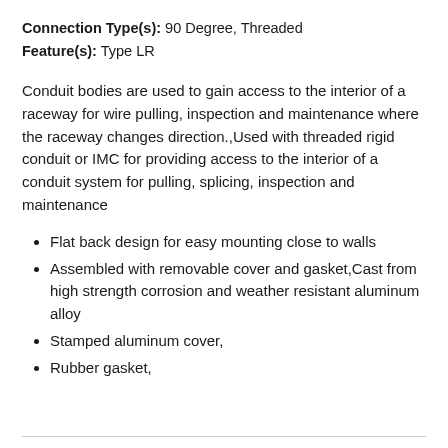Connection Type(s): 90 Degree, Threaded
Feature(s): Type LR
Conduit bodies are used to gain access to the interior of a raceway for wire pulling, inspection and maintenance where the raceway changes direction.,Used with threaded rigid conduit or IMC for providing access to the interior of a conduit system for pulling, splicing, inspection and maintenance
Flat back design for easy mounting close to walls
Assembled with removable cover and gasket,Cast from high strength corrosion and weather resistant aluminum alloy
Stamped aluminum cover,
Rubber gasket,